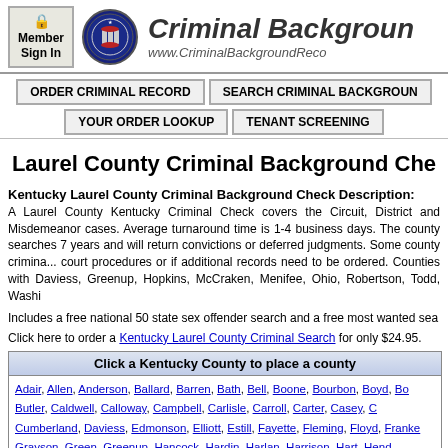Criminal Background Records - www.CriminalBackgroundRecords.com
[Figure (logo): Criminal Background Records site logo with circular seal and Member Sign In button]
ORDER CRIMINAL RECORD
SEARCH CRIMINAL BACKGROUND
YOUR ORDER LOOKUP
TENANT SCREENING
Laurel County Criminal Background Check
Kentucky Laurel County Criminal Background Check Description:
A Laurel County Kentucky Criminal Check covers the Circuit, District and Misdemeanor cases. Average turnaround time is 1-4 business days. The county searches 7 years and will return convictions or deferred judgments. Some county criminal searches may take longer due to court procedures or if additional records need to be ordered. Counties with longer turn times include: Daviess, Greenup, Hopkins, McCraken, Menifee, Ohio, Robertson, Todd, Washington...
Includes a free national 50 state sex offender search and a free most wanted search.
Click here to order a Kentucky Laurel County Criminal Search for only $24.95.
| Click a Kentucky County to place a county criminal order |
| --- |
| Adair, Allen, Anderson, Ballard, Barren, Bath, Bell, Boone, Bourbon, Boyd, Bo... Butler, Caldwell, Calloway, Campbell, Carlisle, Carroll, Carter, Casey, C... Cumberland, Daviess, Edmonson, Elliott, Estill, Fayette, Fleming, Floyd, Franke... Grayson, Green, Greenup, Hancock, Hardin, Harlan, Harrison, Hart, Hend... Jefferson, Jessamine, Johnson, Kenton, Knott, Knox, Larue, Laurel, Lawre... Livingston, Logan, Lyon, Madison, Magoffin, Marion, Marshall, Martin, Mas... |